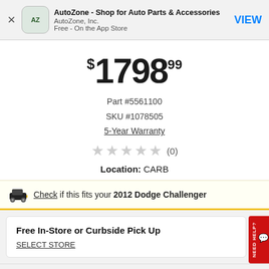AutoZone - Shop for Auto Parts & Accessories
AutoZone, Inc.
Free - On the App Store
$1798.99
Part #5561100
SKU #1078505
5-Year Warranty
★★★★★ (0)
Location: CARB
Check if this fits your 2012 Dodge Challenger
Free In-Store or Curbside Pick Up
SELECT STORE